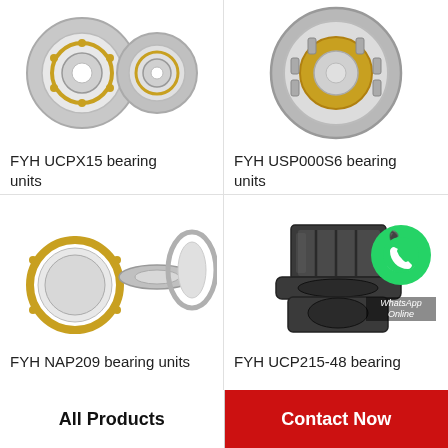[Figure (photo): FYH UCPX15 bearing units product photo showing angular contact ball bearings]
FYH UCPX15 bearing units
[Figure (photo): FYH USP000S6 bearing units product photo showing cylindrical roller bearing]
FYH USP000S6 bearing units
[Figure (photo): FYH NAP209 bearing units product photo showing angular contact ball bearings disassembled]
FYH NAP209 bearing units
[Figure (photo): FYH UCP215-48 bearing units product photo with WhatsApp Online badge overlay]
FYH UCP215-48 bearing
All Products
Contact Now